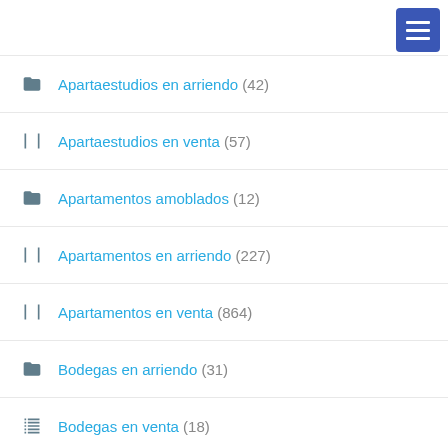Apartaestudios en arriendo (42)
Apartaestudios en venta (57)
Apartamentos amoblados (12)
Apartamentos en arriendo (227)
Apartamentos en venta (864)
Bodegas en arriendo (31)
Bodegas en venta (18)
Cabañas en arriendo (1)
Cabañas en venta (42)
Casa campestre en arriendo (4)
Casa campestre en venta (105)